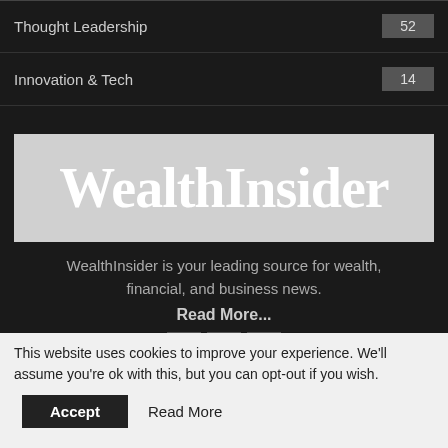Thought Leadership  52
Innovation & Tech  14
[Figure (logo): WealthInsider logo — large serif bold white text on light grey background]
WealthInsider is your leading source for wealth, financial, and business news.
Read More...
This website uses cookies to improve your experience. We'll assume you're ok with this, but you can opt-out if you wish.
Accept   Read More